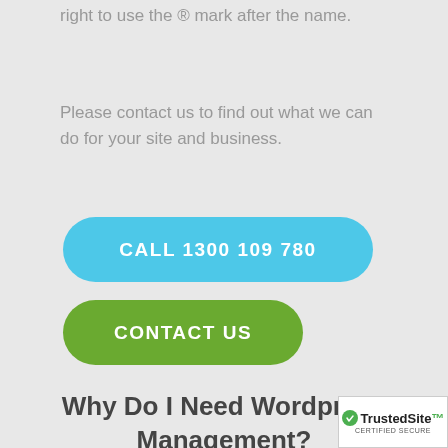right to use the ® mark after the name.
Please contact us to find out what we can do for your site and business.
CALL 1300 109 780
CONTACT US
Why Do I Need Wordpress Management?
[Figure (logo): TrustedSite Certified Secure badge]